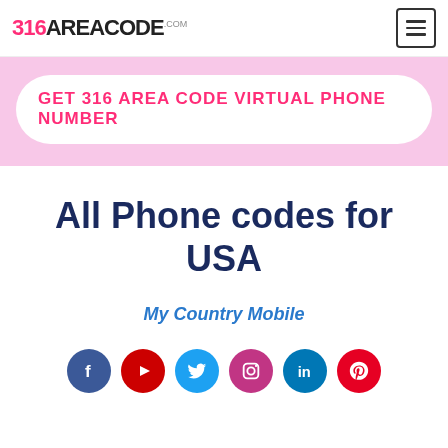316AREACODE.com
GET 316 AREA CODE VIRTUAL PHONE NUMBER
All Phone codes for USA
My Country Mobile
[Figure (infographic): Social media icons row: Facebook, YouTube, Twitter, Instagram, LinkedIn, Pinterest]